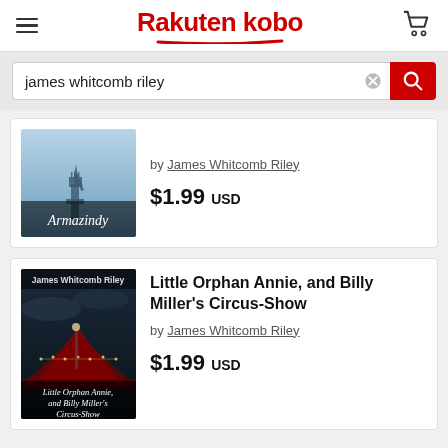Rakuten kobo
james whitcomb riley
by James Whitcomb Riley
$1.99 USD
[Figure (illustration): Book cover for Armazindy showing Statue of Liberty silhouette against light blue sky, with italic title text at bottom]
Little Orphan Annie, and Billy Miller's Circus-Show
by James Whitcomb Riley
$1.99 USD
[Figure (illustration): Book cover for Little Orphan Annie, and Billy Miller's Circus-Show showing dark nighttime circus tent scene with lights and red tent, italic title text at bottom]